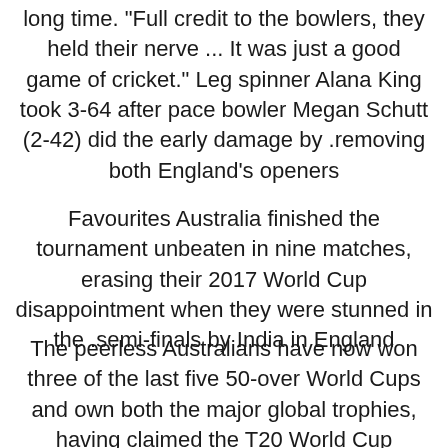long time. "Full credit to the bowlers, they held their nerve ... It was just a good game of cricket." Leg spinner Alana King took 3-64 after pace bowler Megan Schutt (2-42) did the early damage by removing both England's openers.
Favourites Australia finished the tournament unbeaten in nine matches, erasing their 2017 World Cup disappointment when they were stunned in the semi-finals by India in England.
The peerless Australians have now won three of the last five 50-over World Cups and own both the major global trophies, having claimed the T20 World Cup